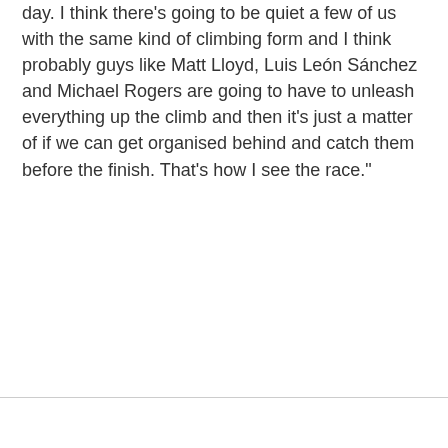day. I think there's going to be quiet a few of us with the same kind of climbing form and I think probably guys like Matt Lloyd, Luis León Sánchez and Michael Rogers are going to have to unleash everything up the climb and then it's just a matter of if we can get organised behind and catch them before the finish. That's how I see the race."